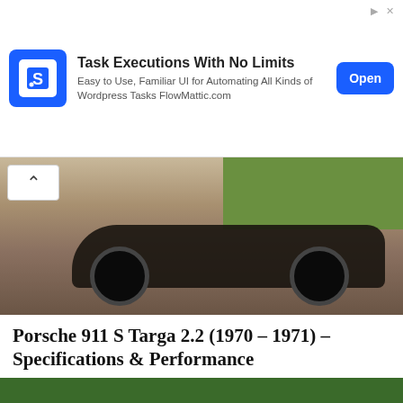[Figure (screenshot): Advertisement banner: FlowMattic app icon (blue square with S-like symbol), headline 'Task Executions With No Limits', subtitle 'Easy to Use, Familiar UI for Automating All Kinds of Wordpress Tasks FlowMattic.com', blue 'Open' button]
[Figure (photo): Photo of bottom of a dark Porsche 911 vehicle showing tires and underside, with green grass in background]
Porsche 911 S Targa 2.2 (1970 – 1971) – Specifications & Performance
[Figure (photo): Dark maroon/purple Porsche 911 coupe photographed against a green wall background, side profile view]